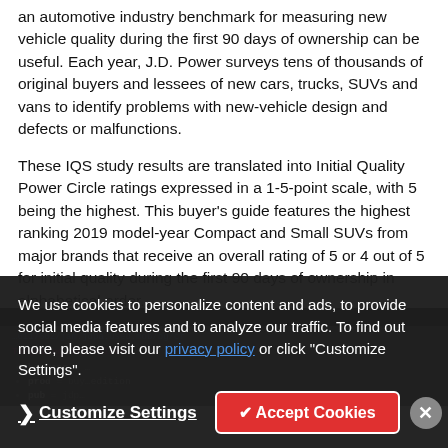an automotive industry benchmark for measuring new vehicle quality during the first 90 days of ownership can be useful. Each year, J.D. Power surveys tens of thousands of original buyers and lessees of new cars, trucks, SUVs and vans to identify problems with new-vehicle design and defects or malfunctions.
These IQS study results are translated into Initial Quality Power Circle ratings expressed in a 1-5-point scale, with 5 being the highest. This buyer's guide features the highest ranking 2019 model-year Compact and Small SUVs from major brands that receive an overall rating of 5 or 4 out of 5 for initial quality during the first 90 days of ownership in alphabetical order.
We use cookies to personalize content and ads, to provide social media features and to analyze our traffic. To find out more, please visit our privacy policy or click "Customize Settings".